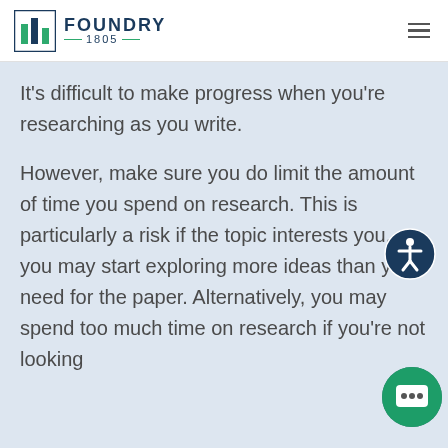FOUNDRY 1805
It's difficult to make progress when you're researching as you write.
However, make sure you do limit the amount of time you spend on research. This is particularly a risk if the topic interests you, as you may start exploring more ideas than you need for the paper. Alternatively, you may spend too much time on research if you're not looking